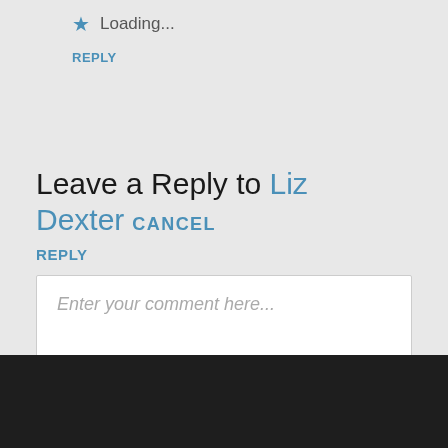Loading...
REPLY
Leave a Reply to Liz Dexter CANCEL REPLY
Enter your comment here...